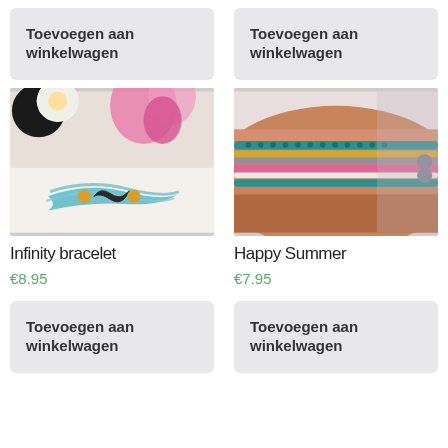Toevoegen aan winkelwagen
Toevoegen aan winkelwagen
[Figure (photo): Infinity bracelet with teal cords and gold beads, flowers in background]
[Figure (photo): Wrist wearing multiple colorful beaded bracelets in teal, gold, pink, and white]
Infinity bracelet
Happy Summer
€8.95
€7.95
Toevoegen aan winkelwagen
Toevoegen aan winkelwagen